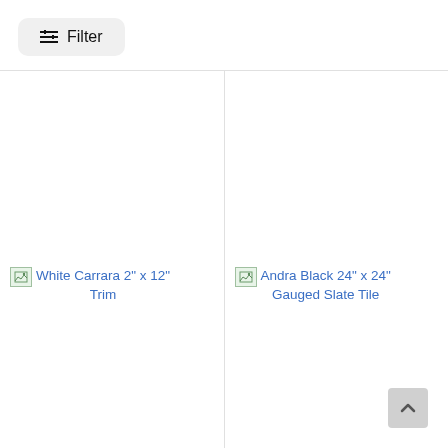Filter
[Figure (screenshot): Product card for White Carrara 2" x 12" Trim with broken image placeholder]
White Carrara 2" x 12" Trim
[Figure (screenshot): Product card for Andra Black 24" x 24" Gauged Slate Tile with broken image placeholder]
Andra Black 24" x 24" Gauged Slate Tile